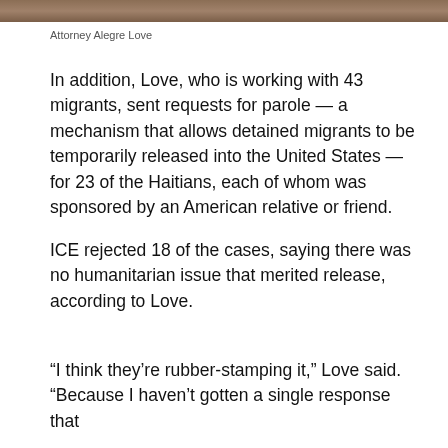[Figure (photo): Partial top edge of a photo showing Attorney Alegre Love, cropped — only the bottom brown/tan portion of the image is visible.]
Attorney Alegre Love
In addition, Love, who is working with 43 migrants, sent requests for parole — a mechanism that allows detained migrants to be temporarily released into the United States — for 23 of the Haitians, each of whom was sponsored by an American relative or friend.
ICE rejected 18 of the cases, saying there was no humanitarian issue that merited release, according to Love.
“I think they’re rubber-stamping it,” Love said. “Because I haven’t gotten a single response that